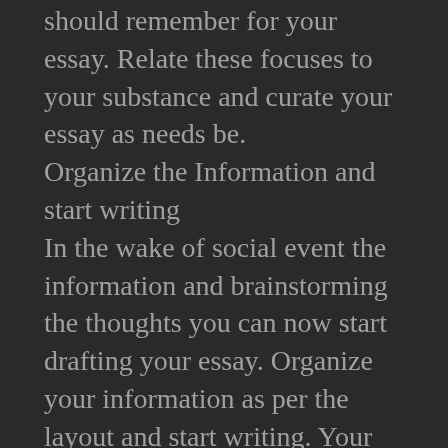should remember for your essay. Relate these focuses to your substance and curate your essay as needs be.
Organize the Information and start writing
In the wake of social event the information and brainstorming the thoughts you can now start drafting your essay. Organize your information as per the layout and start writing. Your most memorable draft does not need to be great. Continue to overhaul your drafts until you arrive at the degree of fulfillment you are content with. Likewise, Make sure you adhere to the layout and remain focused. Remember just the relevant information for your essay. Remember that your essay will address you before the panel. Keep it compact and lucid!
On the off chance that you are as yet not certain